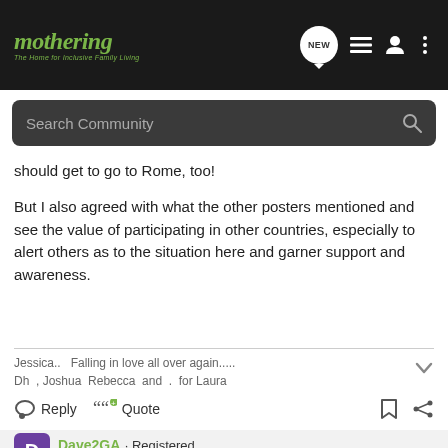mothering – The Home for Inclusive Family Living
should get to go to Rome, too!
But I also agreed with what the other posters mentioned and see the value of participating in other countries, especially to alert others as to the situation here and garner support and awareness.
Jessica..   Falling in love all over again.....  Dh , Joshua  Rebecca  and  .  for Laura
Reply   Quote
Dave2GA · Registered  Joined Jul 30, 2005 · 262 Posts